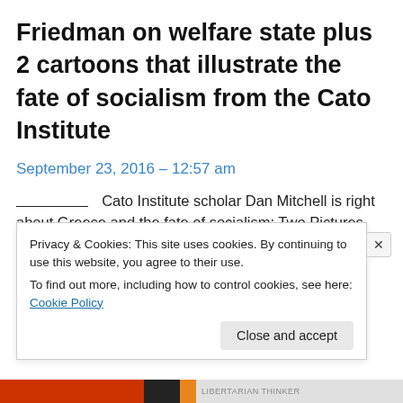Friedman on welfare state plus 2 cartoons that illustrate the fate of socialism from the Cato Institute
September 23, 2016 – 12:57 am
__________ Cato Institute scholar Dan Mitchell is right about Greece and the fate of socialism: Two Pictures that Perfectly Capture the Rise and Fall of the Welfare State July 15, 2011 by Dan Mitchell In my speeches, especially
Privacy & Cookies: This site uses cookies. By continuing to use this website, you agree to their use.
To find out more, including how to control cookies, see here: Cookie Policy
Close and accept